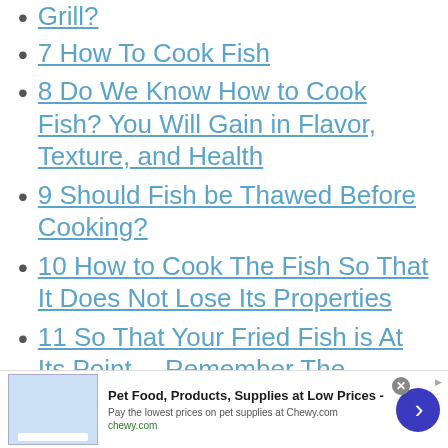Grill?
7 How To Cook Fish
8 Do We Know How to Cook Fish? You Will Gain in Flavor, Texture, and Health
9 Should Fish be Thawed Before Cooking?
10 How to Cook The Fish So That It Does Not Lose Its Properties
11 So That Your Fried Fish is At Its Point… Remember The Following Points:
12 How to Prepare Battered Fish
[Figure (other): Advertisement banner for Chewy.com pet food and supplies]